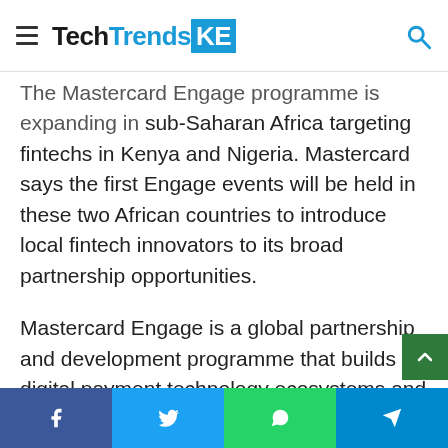TechTrendsKE
The Mastercard Engage programme is expanding in sub-Saharan Africa targeting fintechs in Kenya and Nigeria. Mastercard says the first Engage events will be held in these two African countries to introduce local fintech innovators to its broad partnership opportunities.
Mastercard Engage is a global partnership and development programme that builds digital payment technology ecosystems and enhances speed to market. The programme connects financial institutions, merchants and IoT Manufacturers with the right technology partners that can help them